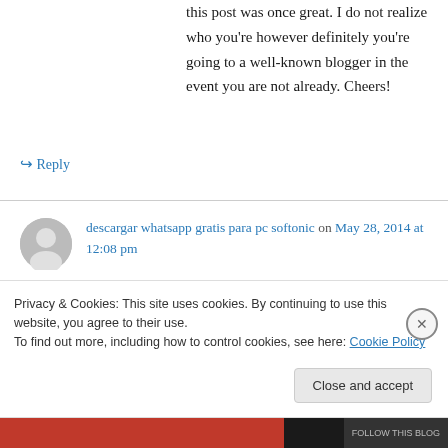this post was once great. I do not realize who you're however definitely you're going to a well-known blogger in the event you are not already. Cheers!
↳ Reply
descargar whatsapp gratis para pc softonic on May 28, 2014 at 12:08 pm
Excellent way of explaining, and nice article to take information on the topic of my presentation to...
Privacy & Cookies: This site uses cookies. By continuing to use this website, you agree to their use.
To find out more, including how to control cookies, see here: Cookie Policy
Close and accept